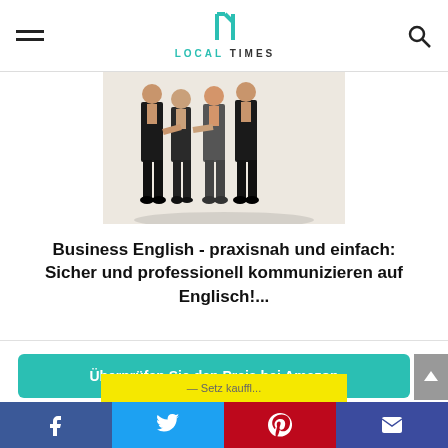LOCAL TIMES
[Figure (photo): Group of business people in formal attire standing together, cropped at waist/legs area, on a light beige background]
Business English - praxisnah und einfach: Sicher und professionell kommunizieren auf Englisch!...
Überprüfen Sie den Preis bei Amazon
Amazon.de
Free shipping
[Figure (photo): Yellow strip at bottom, partially visible, appears to be another product image]